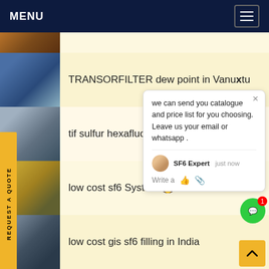MENU
(partial row — top cut off)
TRANSORFILTER dew point in Vanuatu
tif sulfur hexafluoride rec... ali
low cost sf6 System R...
Rapidox sf6 n2 N2Mixtures in Portugal
low cost gis sf6 filling in India
(partial row at bottom)
we can send you catalogue and price list for you choosing. Leave us your email or whatsapp .
SF6 Expert   just now
Write a
REQUEST A QUOTE